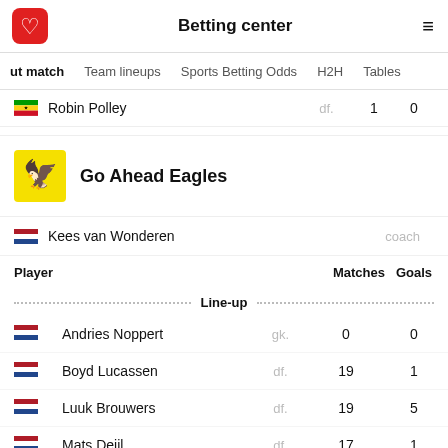Betting center
ut match   Team lineups   Sports Betting Odds   H2H   Tables
| Player |  | Matches | Goals |
| --- | --- | --- | --- |
| Robin Polley | df. | 1 | 0 |
Go Ahead Eagles
Kees van Wonderen   coach
| Player |  | Matches | Goals |
| --- | --- | --- | --- |
| Line-up |  |  |  |
| Andries Noppert | gk. | 0 | 0 |
| Boyd Lucassen | df. | 19 | 1 |
| Luuk Brouwers | df. | 19 | 5 |
| Mats Deijl | df. | 17 | 1 |